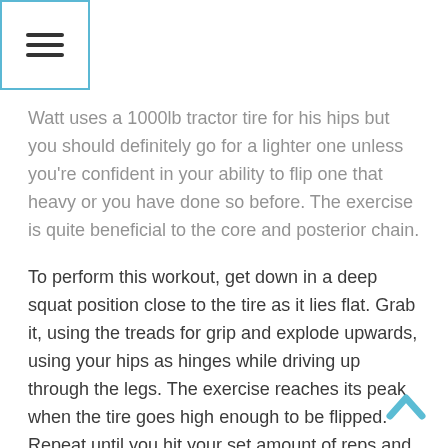[Figure (other): Hamburger menu icon in a teal-bordered square box in top-left corner]
Watt uses a 1000lb tractor tire for his hips but you should definitely go for a lighter one unless you're confident in your ability to flip one that heavy or you have done so before. The exercise is quite beneficial to the core and posterior chain.
To perform this workout, get down in a deep squat position close to the tire as it lies flat. Grab it, using the treads for grip and explode upwards, using your hips as hinges while driving up through the legs. The exercise reaches its peak when the tire goes high enough to be flipped. Repeat until you hit your set amount of reps and, of course, keep your back straight at all times to avoid injury.
Sled Pushes